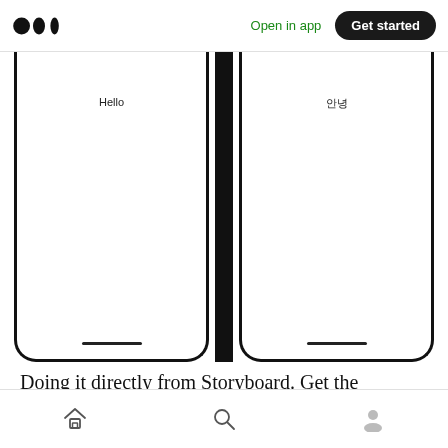Medium logo | Open in app | Get started
[Figure (screenshot): Two side-by-side phone mockup screenshots: left phone shows 'Hello' text, right phone shows '안녕' text (Korean for 'Hello')]
Doing it directly from Storyboard. Get the Object ID from the storyboard and open up
Home | Search | Profile icons